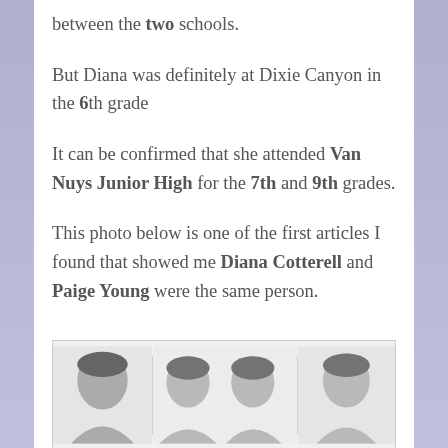between the two schools.
But Diana was definitely at Dixie Canyon in the 6th grade
It can be confirmed that she attended Van Nuys Junior High for the 7th and 9th grades.
This photo below is one of the first articles I found that showed me Diana Cotterell and Paige Young were the same person.
[Figure (photo): Black and white photo strip showing multiple portrait headshots of young people, partially visible at bottom of page.]